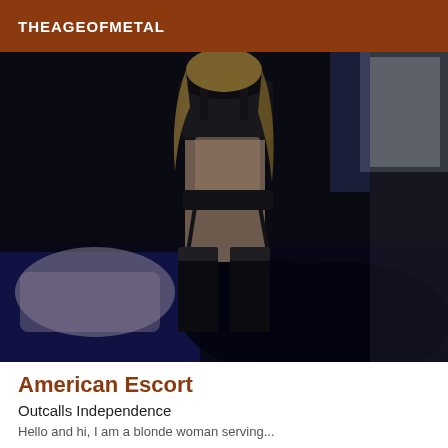THEAGEOFMETAL
[Figure (photo): A person in black lingerie on a dark bed in a dimly lit bedroom setting]
American Escort
Outcalls Independence
Hello and hi, I am a blonde woman serving...